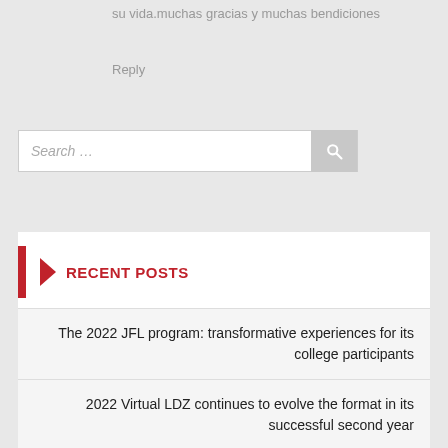su vida.muchas gracias y muchas bendiciones
Reply
[Figure (other): Search input box with magnifying glass icon button]
RECENT POSTS
The 2022 JFL program: transformative experiences for its college participants
2022 Virtual LDZ continues to evolve the format in its successful second year